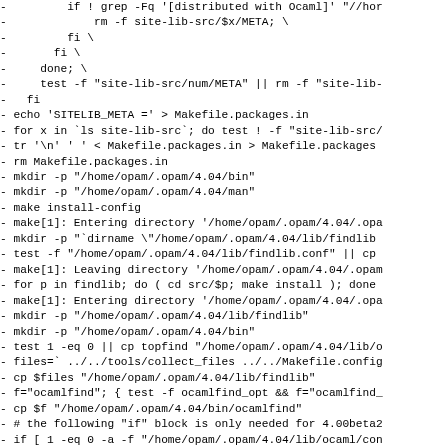- if ! grep -Fq '[distributed with Ocaml]' "//hor
-     rm -f site-lib-src/$x/META; \
-     fi \
-   fi \
-   done; \
-   test -f "site-lib-src/num/META" || rm -f "site-lib-
- fi
- echo 'SITELIB_META =' > Makefile.packages.in
- for x in `ls site-lib-src`; do test ! -f "site-lib-src/
- tr '\n' ' ' < Makefile.packages.in > Makefile.packages
- rm Makefile.packages.in
- mkdir -p "/home/opam/.opam/4.04/bin"
- mkdir -p "/home/opam/.opam/4.04/man"
- make install-config
- make[1]: Entering directory '/home/opam/.opam/4.04/.opa
- mkdir -p "`dirname \"/home/opam/.opam/4.04/lib/findlib
- test -f "/home/opam/.opam/4.04/lib/findlib.conf" || cp
- make[1]: Leaving directory '/home/opam/.opam/4.04/.opam
- for p in findlib; do ( cd src/$p; make install ); done
- make[1]: Entering directory '/home/opam/.opam/4.04/.opa
- mkdir -p "/home/opam/.opam/4.04/lib/findlib"
- mkdir -p "/home/opam/.opam/4.04/bin"
- test 1 -eq 0 || cp topfind "/home/opam/.opam/4.04/lib/o
- files=` ../../tools/collect_files ../../Makefile.config
- cp $files "/home/opam/.opam/4.04/lib/findlib"
- f="ocamlfind"; { test -f ocamlfind_opt && f="ocamlfind_
- cp $f "/home/opam/.opam/4.04/bin/ocamlfind"
- # the following "if" block is only needed for 4.00beta2
- if [ 1 -eq 0 -a -f "/home/opam/.opam/4.04/lib/ocaml/con
-     cd "/home/opam/.opam/4.04/lib/ocaml/compiler-libs/